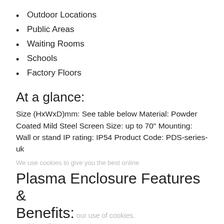Outdoor Locations
Public Areas
Waiting Rooms
Schools
Factory Floors
At a glance:
Size (HxWxD)mm: See table below Material: Powder Coated Mild Steel Screen Size: up to 70" Mounting: Wall or stand IP rating: IP54 Product Code: PDS-series-uk
Plasma Enclosure Features & Benefits:
Your Plasma screen protected against:
Light or heavy rainfall - ideal for outdoor locations